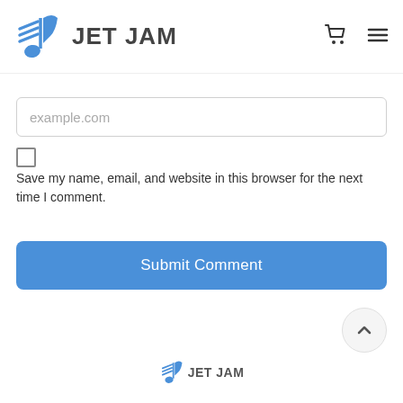[Figure (logo): Jet Jam logo with blue music note and horizontal lines, text JET JAM in dark gray]
[Figure (other): Shopping cart icon (dark gray)]
[Figure (other): Hamburger menu icon (three horizontal lines, dark gray)]
example.com
Save my name, email, and website in this browser for the next time I comment.
Submit Comment
[Figure (other): Back to top arrow button (chevron up, circular light gray button)]
[Figure (logo): Jet Jam footer logo, small version with blue music note icon and JET JAM text]